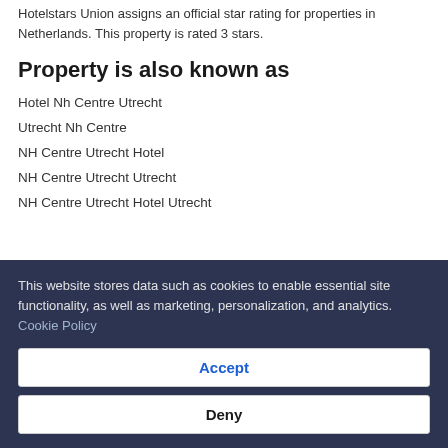Hotelstars Union assigns an official star rating for properties in Netherlands. This property is rated 3 stars.
Property is also known as
Hotel Nh Centre Utrecht
Utrecht Nh Centre
NH Centre Utrecht Hotel
NH Centre Utrecht Utrecht
NH Centre Utrecht Hotel Utrecht
This website stores data such as cookies to enable essential site functionality, as well as marketing, personalization, and analytics. Cookie Policy
Accept
Deny